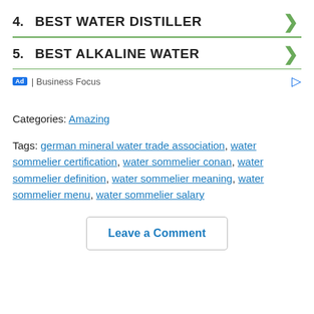4. BEST WATER DISTILLER
5. BEST ALKALINE WATER
Ad | Business Focus
Categories: Amazing
Tags: german mineral water trade association, water sommelier certification, water sommelier conan, water sommelier definition, water sommelier meaning, water sommelier menu, water sommelier salary
Leave a Comment